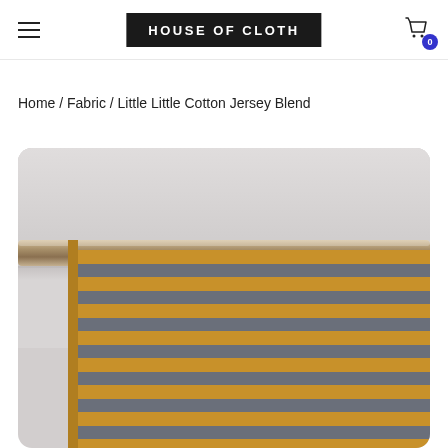HOUSE OF CLOTH
Home / Fabric / Little Little Cotton Jersey Blend
[Figure (photo): Striped cotton jersey blend fabric in amber/mustard and grey horizontal stripes, draped over a wooden rod against a light grey background]